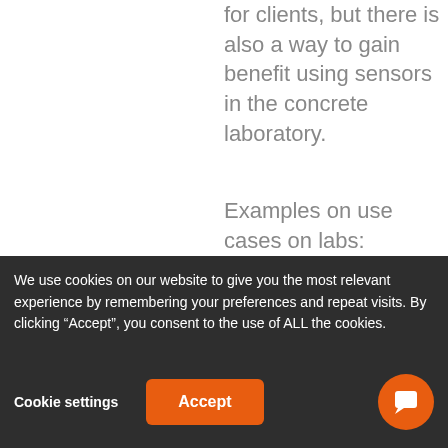for clients, but there is also a way to gain benefit using sensors in the concrete laboratory.
Examples on use cases on labs:
We use cookies on our website to give you the most relevant experience by remembering your preferences and repeat visits. By clicking “Accept”, you consent to the use of ALL the cookies.
Cookie settings
Accept